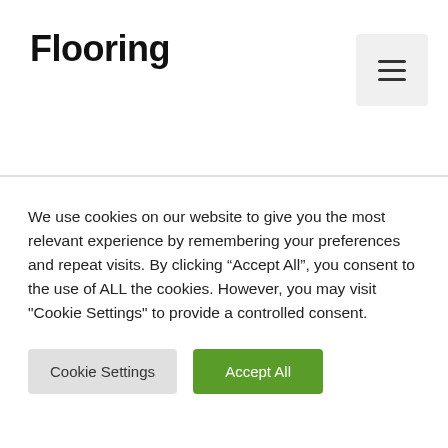Flooring
We use cookies on our website to give you the most relevant experience by remembering your preferences and repeat visits. By clicking “Accept All”, you consent to the use of ALL the cookies. However, you may visit "Cookie Settings" to provide a controlled consent.
Cookie Settings | Accept All